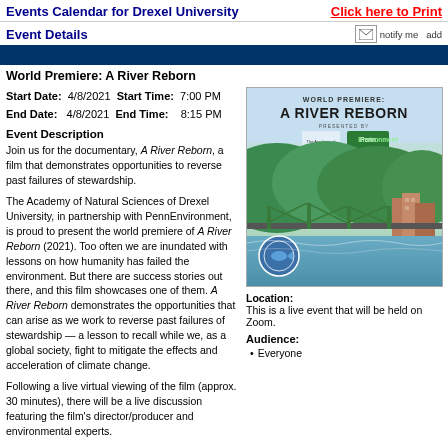Events Calendar for Drexel University   Click here to Print
Event Details
World Premiere: A River Reborn
Start Date: 4/8/2021  Start Time: 7:00 PM
End Date: 4/8/2021  End Time: 8:15 PM
Event Description
Join us for the documentary, A River Reborn, a film that demonstrates opportunities to reverse past failures of stewardship.
The Academy of Natural Sciences of Drexel University, in partnership with PennEnvironment, is proud to present the world premiere of A River Reborn (2021). Too often we are inundated with lessons on how humanity has failed the environment. But there are success stories out there, and this film showcases one of them. A River Reborn demonstrates the opportunities that can arise as we work to reverse past failures of stewardship — a lesson to recall while we, as a global society, fight to mitigate the effects and acceleration of climate change.
Following a live virtual viewing of the film (approx. 30 minutes), there will be a live discussion featuring the film's director/producer and environmental experts.
[Figure (photo): Movie poster for World Premiere: A River Reborn showing a river, bridge, and town with green hills in background. Presented by Academy of Natural Sciences of Drexel University and PennEnvironment.]
Location:
This is a live event that will be held on Zoom.
Audience:
Everyone